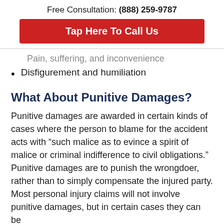Free Consultation: (888) 259-9787
Tap Here To Call Us
Pain, suffering, and inconvenience
Disfigurement and humiliation
What About Punitive Damages?
Punitive damages are awarded in certain kinds of cases where the person to blame for the accident acts with “such malice as to evince a spirit of malice or criminal indifference to civil obligations.” Punitive damages are to punish the wrongdoer, rather than to simply compensate the injured party. Most personal injury claims will not involve punitive damages, but in certain cases they can be